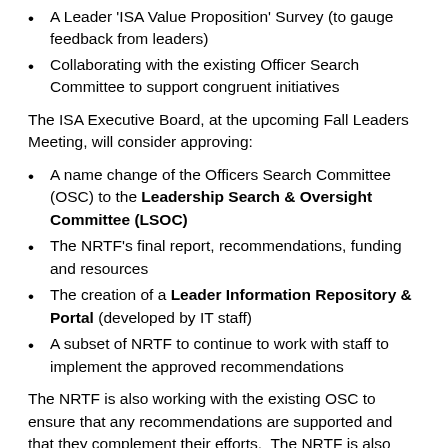A Leader 'ISA Value Proposition' Survey (to gauge feedback from leaders)
Collaborating with the existing Officer Search Committee to support congruent initiatives
The ISA Executive Board, at the upcoming Fall Leaders Meeting, will consider approving:
A name change of the Officers Search Committee (OSC) to the Leadership Search & Oversight Committee (LSOC)
The NRTF's final report, recommendations, funding and resources
The creation of a Leader Information Repository & Portal (developed by IT staff)
A subset of NRTF to continue to work with staff to implement the approved recommendations
The NRTF is also working with the existing OSC to ensure that any recommendations are supported and that they complement their efforts.  The NRTF is also soliciting feedback on their work from the Nominating Committee.